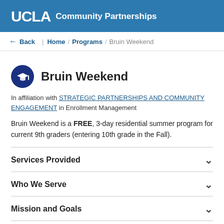UCLA Community Partnerships
← Back | Home / Programs / Bruin Weekend
Bruin Weekend
In affiliation with STRATEGIC PARTNERSHIPS AND COMMUNITY ENGAGEMENT in Enrollment Management
Bruin Weekend is a FREE, 3-day residential summer program for current 9th graders (entering 10th grade in the Fall).
Services Provided
Who We Serve
Mission and Goals